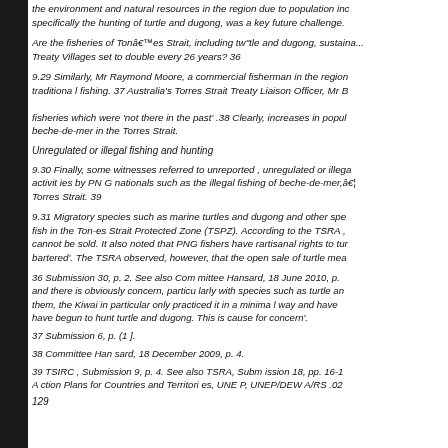the environment and natural resources in the region due to population inc... specifically the hunting of turtle and dugong, was a key future challenge.
Are the fisheries of Tonâes Strait, including tw"tle and dugong, sustaina... Treaty Villages set to double every 26 years? 36
9.29 Similarly, Mr Raymond Moore, a commercial fisherman in the region... traditiona l fishing. 37 Australia's Torres Strait Treaty Liaison Officer, Mr B... fisheries which were 'not there in the past' .38 Clearly, increases in popul... beche-de-mer in the Torres Strait.
Unregulated or illegal fishing and hunting
9.30 Finally, some witnesses referred to unreported , unregulated or illeg... activit ies by PN G nationals such as the illegal fishing of beche-de-mer,â¦ Torres Strait. 39
9.31 Migratory species such as marine turtles and dugong and other spe... fish in the Ton-es Strait Protected Zone (TSPZ). According to the TSRA , cannot be sold. It also noted that PNG fishers have rartisanal rights to tu... bartered'. The TSRA observed, however, that the open sale of turtle mea...
36 Submission 30, p. 2. See also Com mittee Hansard, 18 June 2010, p. ... and there is obviously concern, particu larly with species such as turtle a... them, the Kiwai in particular only practiced it in a minima l way and have ... have begun to hunt turtle and dugong. This is cause for concern'.
37 Submission 6, p. (1 ].
38 Committee Han sard, 18 December 2009, p. 4.
39 TSIRC , Submission 9, p. 4. See also TSRA, Subm ission 18, pp. 16-1... A ction Plans for Countries and Territori es, UNE P, UNEP/DEW A/RS .02...
129